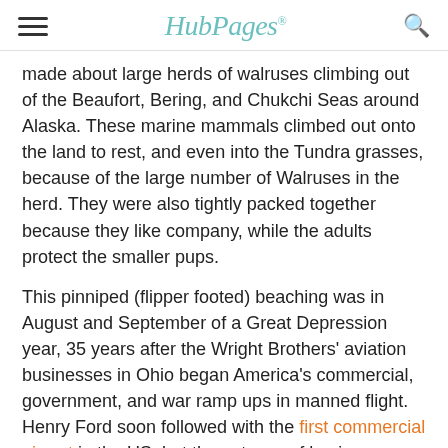HubPages
made about large herds of walruses climbing out of the Beaufort, Bering, and Chukchi Seas around Alaska. These marine mammals climbed out onto the land to rest, and even into the Tundra grasses, because of the large number of Walruses in the herd. They were also tightly packed together because they like company, while the adults protect the smaller pups.
This pinniped (flipper footed) beaching was in August and September of a Great Depression year, 35 years after the Wright Brothers' aviation businesses in Ohio began America's commercial, government, and war ramp ups in manned flight. Henry Ford soon followed with the first commercial airport in the US, but these types of businesses also began in Europe around 1905. As they expanded, they placed an increasing demand on natural resources and pumped increasing amounts of pollution into the air.
Global warming and cooling were not in the news of 1938